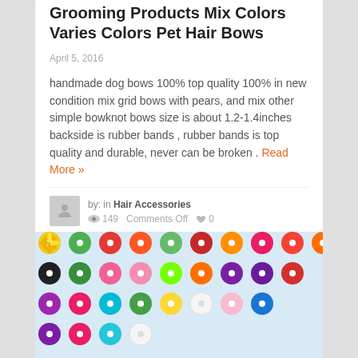Grooming Products Mix Colors Varies Colors Pet Hair Bows
April 5, 2016
handmade dog bows 100% top quality 100% in new condition mix grid bows with pears, and mix other simple bowknot bows size is about 1.2-1.4inches backside is rubber bands , rubber bands is top quality and durable, never can be broken . Read More »
by: in Hair Accessories
149   Comments Off   0
[Figure (photo): Photo of colorful fabric/satin flower hair bows arranged in rows on a light blue background. Multiple colors including yellow, green, red, orange, pink, purple, black, teal, white, and blue. Each flower has a pearl center.]